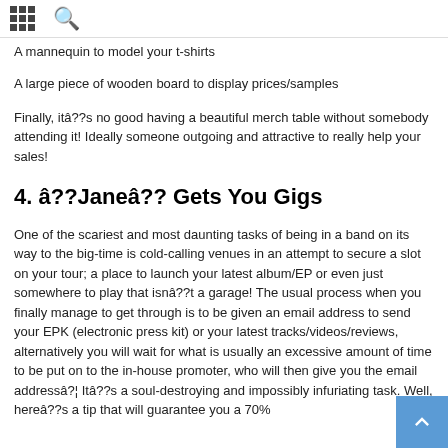grid icon | search icon
A mannequin to model your t-shirts
A large piece of wooden board to display prices/samples
Finally, itâ??s no good having a beautiful merch table without somebody attending it! Ideally someone outgoing and attractive to really help your sales!
4. â??Janeâ?? Gets You Gigs
One of the scariest and most daunting tasks of being in a band on its way to the big-time is cold-calling venues in an attempt to secure a slot on your tour; a place to launch your latest album/EP or even just somewhere to play that isnâ??t a garage! The usual process when you finally manage to get through is to be given an email address to send your EPK (electronic press kit) or your latest tracks/videos/reviews, alternatively you will wait for what is usually an excessive amount of time to be put on to the in-house promoter, who will then give you the email addressâ?¦ Itâ??s a soul-destroying and impossibly infuriating task. Well, hereâ??s a tip that will guarantee you a 70%